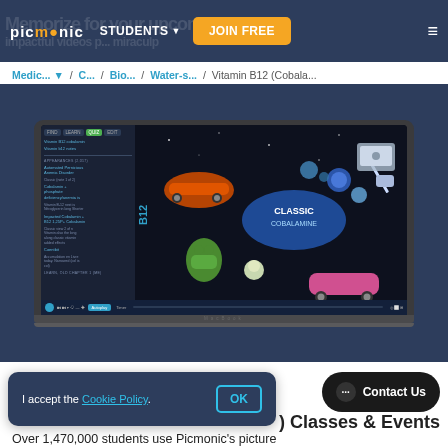[Figure (screenshot): Picmonic website navigation bar with logo, STUDENTS dropdown, JOIN FREE button, and hamburger menu on dark blue background]
Medic... / C... / Bio... / Water-s... / Vitamin B12 (Cobala...
[Figure (screenshot): Laptop mockup showing Picmonic learning platform with animated Vitamin B12 characters on screen and sidebar navigation]
I accept the Cookie Policy.
OK
Contact Us
Classes & Events
Over 1,470,000 students use Picmonic's picture